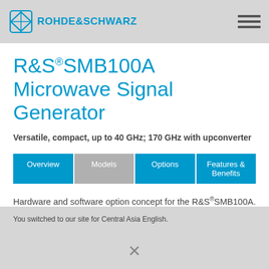ROHDE&SCHWARZ
R&S®SMB100A Microwave Signal Generator
Versatile, compact, up to 40 GHz; 170 GHz with upconverter
Overview
Models
Options
Features & Benefits
Hardware and software option concept for the R&S®SMB100A. The table provides an overview of the
You switched to our site for Central Asia English.
X